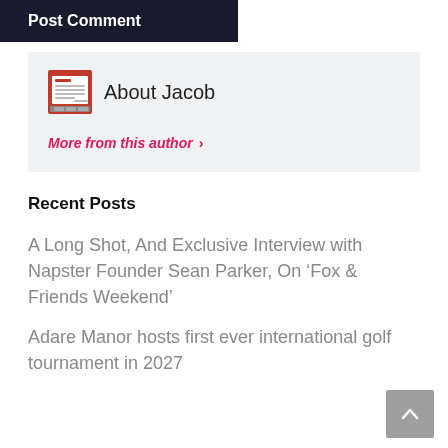Post Comment
About Jacob
More from this author >
Recent Posts
A Long Shot, And Exclusive Interview with Napster Founder Sean Parker, On ‘Fox & Friends Weekend’
Adare Manor hosts first ever international golf tournament in 2027